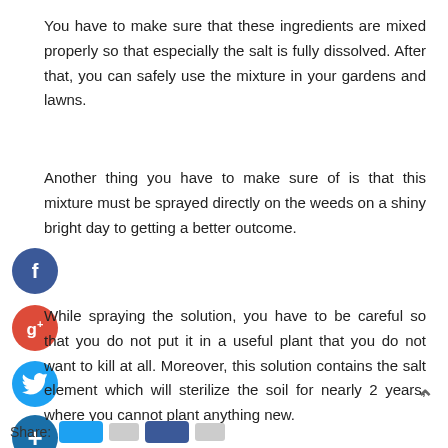You have to make sure that these ingredients are mixed properly so that especially the salt is fully dissolved. After that, you can safely use the mixture in your gardens and lawns.
Another thing you have to make sure of is that this mixture must be sprayed directly on the weeds on a shiny bright day to getting a better outcome.
[Figure (other): Social media share icons: Facebook (blue), Google+ (red), Twitter (blue), Add/plus (dark blue) on left side of page]
While spraying the solution, you have to be careful so that you do not put it in a useful plant that you do not want to kill at all. Moreover, this solution contains the salt element which will sterilize the soil for nearly 2 years, where you cannot plant anything new.
Share: